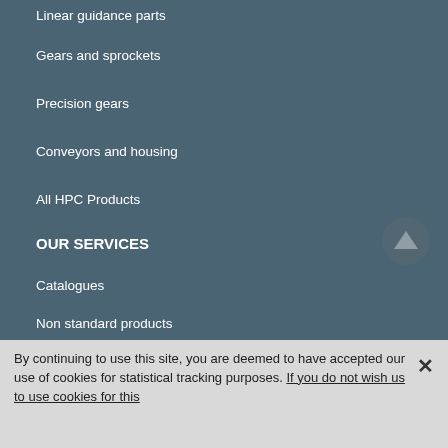Linear guidance parts
Gears and sprockets
Precision gears
Conveyors and housing
All HPC Products
OUR SERVICES
Catalogues
Non standard products
Press center
Technical files
Competitors area
By continuing to use this site, you are deemed to have accepted our use of cookies for statistical tracking purposes. If you do not wish us to use cookies for this click here